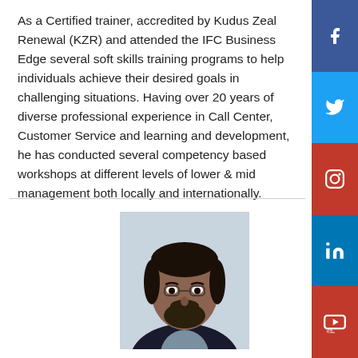As a Certified trainer, accredited by Kudus Zeal Renewal (KZR) and attended the IFC Business Edge several soft skills training programs to help individuals achieve their desired goals in challenging situations. Having over 20 years of diverse professional experience in Call Center, Customer Service and learning and development, he has conducted several competency based workshops at different levels of lower & mid management both locally and internationally.
[Figure (photo): Portrait photo of a middle-aged man with a beard, wearing a dark jacket and grey shirt, against a light background.]